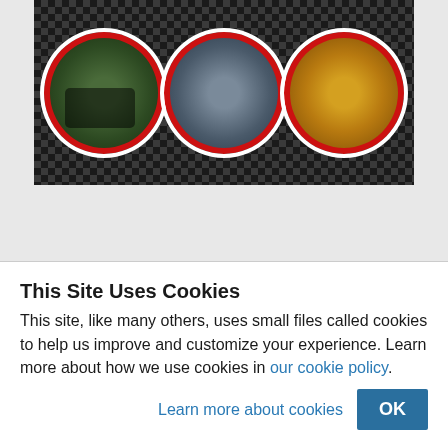[Figure (photo): A banner image with a black-and-white checkered background containing three circular photos framed with red and white borders: left circle shows an ATV/quad in a green forest setting, center circle shows a motorcycle on a road, right circle shows what appears to be a motocross or racing scene with yellow/orange tones.]
This Site Uses Cookies
This site, like many others, uses small files called cookies to help us improve and customize your experience. Learn more about how we use cookies in our cookie policy.
Learn more about cookies    OK